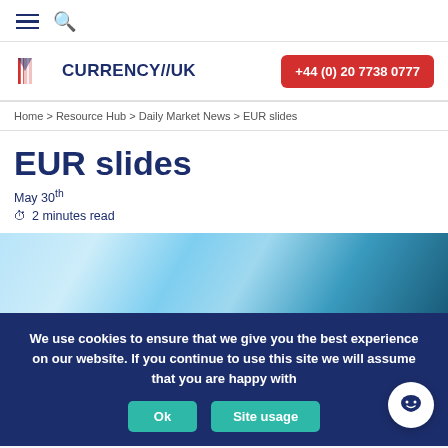≡ 🔍
[Figure (logo): Currency//UK logo with red/blue flag icon and phone number button +44 (0) 20 7738 0777]
Home > Resource Hub > Daily Market News > EUR slides
EUR slides
May 30th
🕐 2 minutes read
[Figure (photo): Close-up photo of financial charts or documents with blue tones]
We use cookies to ensure that we give you the best experience on our website. If you continue to use this site we will assume that you are happy with
Ok   Site usage